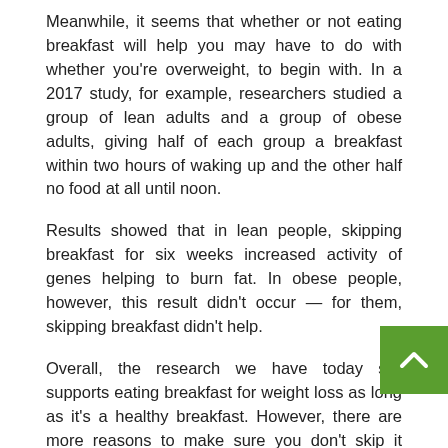Meanwhile, it seems that whether or not eating breakfast will help you may have to do with whether you're overweight, to begin with. In a 2017 study, for example, researchers studied a group of lean adults and a group of obese adults, giving half of each group a breakfast within two hours of waking up and the other half no food at all until noon.
Results showed that in lean people, skipping breakfast for six weeks increased activity of genes helping to burn fat. In obese people, however, this result didn't occur — for them, skipping breakfast didn't help.
Overall, the research we have today still supports eating breakfast for weight loss as long as it's a healthy breakfast. However, there are more reasons to make sure you don't skip it besides your weight — reasons that matter just as much to your health.
2. You May Lower Your Risk of Heart Disease and Type 2 Diabetes